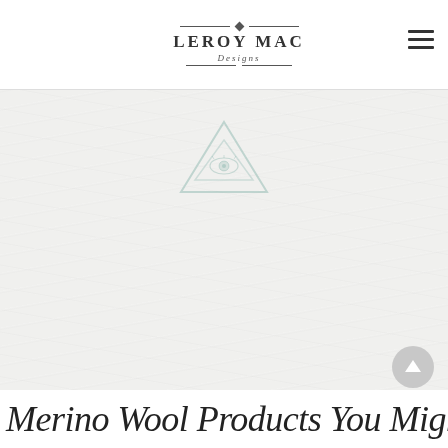LEROY MAC Designs
[Figure (illustration): Hero background image with crumpled/textured paper effect in light gray/white tones, featuring a faint teal/green triangle emblem (eye-of-providence style) centered near the top]
Merino Wool Products You Might